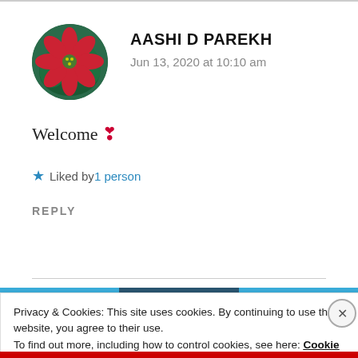AASHI D PAREKH
Jun 13, 2020 at 10:10 am
Welcome ❣
★ Liked by 1 person
REPLY
Privacy & Cookies: This site uses cookies. By continuing to use this website, you agree to their use.
To find out more, including how to control cookies, see here: Cookie Policy
Close and accept